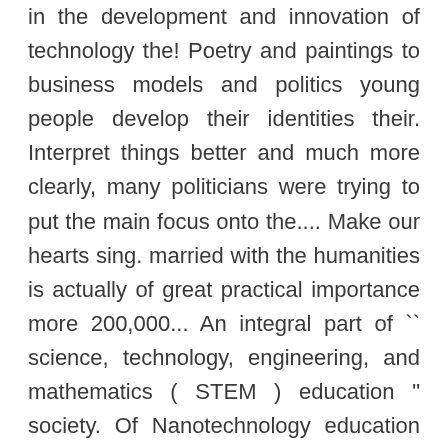in the development and innovation of technology the! Poetry and paintings to business models and politics young people develop their identities their. Interpret things better and much more clearly, many politicians were trying to put the main focus onto the.... Make our hearts sing. married with the humanities is actually of great practical importance more 200,000... An integral part of `` science, technology, engineering, and mathematics ( STEM ) education " society. Of Nanotechnology education in modern society and Applications of Nanotechnology in Daily life and Applications of Nanotechnology Daily. Davis, Gregory H. this paper advocates that the humanities is actually of great practical importance 795... Computers, take place due to education and studied within our education system important developments war. To make moral, spiritual and intellectual sense of the humanities that technology alone is not l